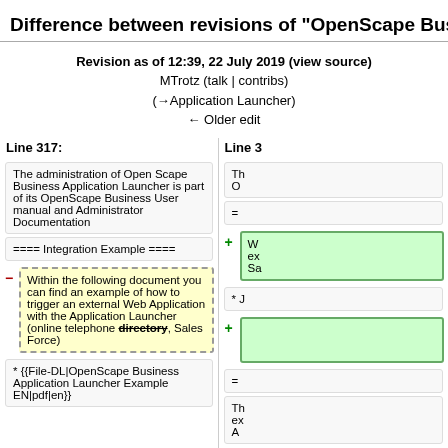Difference between revisions of "OpenScape Business
Revision as of 12:39, 22 July 2019 (view source)
MTrotz (talk | contribs)
(→Application Launcher)
← Older edit
Line 317:
The administration of Open Scape Business Application Launcher is part of its OpenScape Business User manual and Administrator Documentation
==== Integration Example ====
Within the following document you can find an example of how to trigger an external Web Application with the Application Launcher (online telephone directory, Sales Force)
* {{File-DL|OpenScape Business Application Launcher Example EN|pdf|en}}
==== Process flow ====
The following picture shows a process flow for an incoming call triggering an external 3rd party application. During an incoming call OpenScape Business Application Launcher does search in connected directories for name resolution based on CLI and transfers selected information/criterias (for e.g. name,